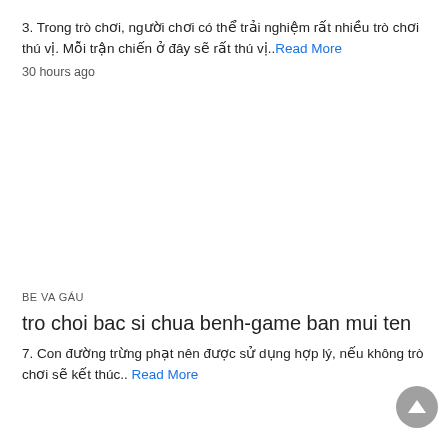3. Trong trò chơi, người chơi có thể trải nghiệm rất nhiều trò chơi thú vị. Mỗi trận chiến ở đây sẽ rất thú vị.. Read More
30 hours ago
BE VA GÁU
tro choi bac si chua benh-game ban mui ten
7. Con đường trừng phạt nên được sử dụng hợp lý, nếu không trò chơi sẽ kết thúc.. Read More